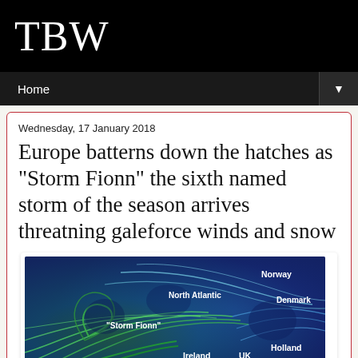TBW
Home
Wednesday, 17 January 2018
Europe batterns down the hatches as "Storm Fionn" the sixth named storm of the season arrives threatning galeforce winds and snow
[Figure (map): Weather map showing Storm Fionn wind patterns over Western Europe and North Atlantic. Labels show Norway, North Atlantic, Denmark, "Storm Fionn", Ireland, UK, Holland, Belgium, France. Map shows swirling green and blue wind streamlines.]